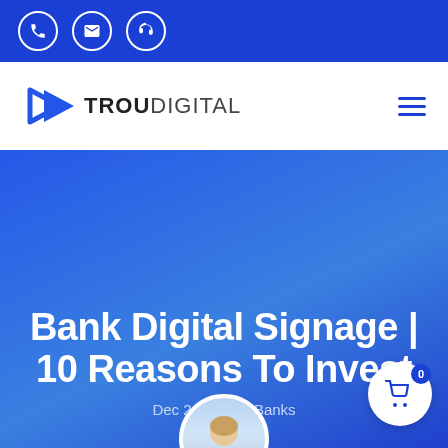TrouDigital contact bar with phone, email, and support icons
[Figure (logo): TrouDigital logo with blue play-button arrow icon and TROUDIGITAL wordmark, plus hamburger menu icon on right]
Bank Digital Signage | 10 Reasons To Invest
Dec 21, 2020 | Banks
[Figure (photo): Circular avatar photo of a person, partially visible at bottom of hero section]
[Figure (infographic): White shopping cart bubble icon with blue badge showing 0, bottom right of hero]